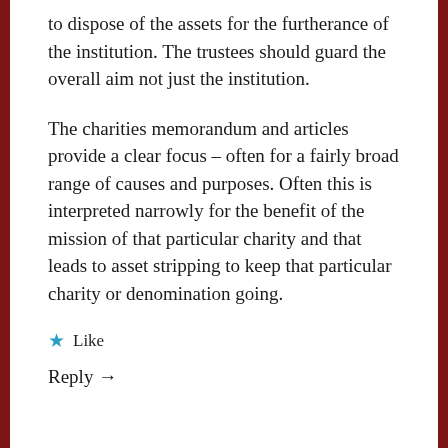to dispose of the assets for the furtherance of the institution. The trustees should guard the overall aim not just the institution.
The charities memorandum and articles provide a clear focus – often for a fairly broad range of causes and purposes. Often this is interpreted narrowly for the benefit of the mission of that particular charity and that leads to asset stripping to keep that particular charity or denomination going.
★ Like
Reply →